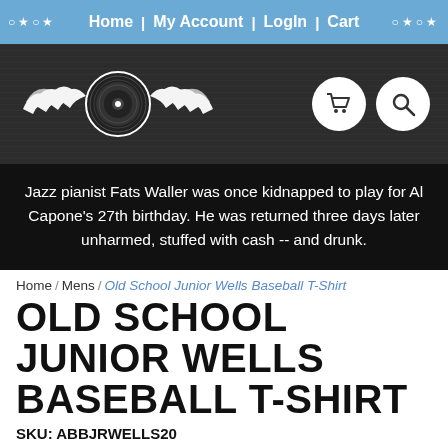Home | My Account | Login | Cart
[Figure (logo): Winged vinyl record logo with shopping cart and search icons on dark textured banner]
Jazz pianist Fats Waller was once kidnapped to play for Al Capone's 27th birthday. He was returned three days later unharmed, stuffed with cash -- and drunk.
Home / Mens / Old School Junior Wells Baseball T-Shirt
OLD SCHOOL JUNIOR WELLS BASEBALL T-SHIRT
SKU: ABBJRWELLS20
PRICE: $27.90
Select A Size: